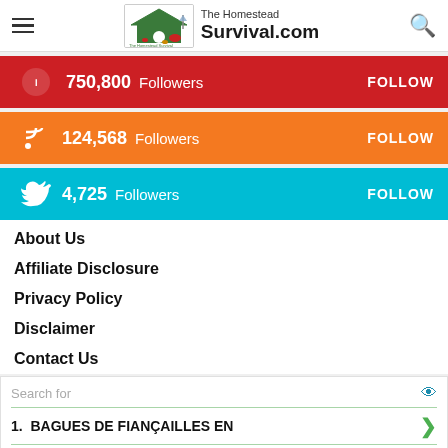The Homestead Survival.com
750,800  Followers  FOLLOW
124,568  Followers  FOLLOW
4,725  Followers  FOLLOW
About Us
Affiliate Disclosure
Privacy Policy
Disclaimer
Contact Us
Search for
1.  BAGUES DE FIANÇAILLES EN
2.  ALIMENTS RICHES EN PROTÉINES